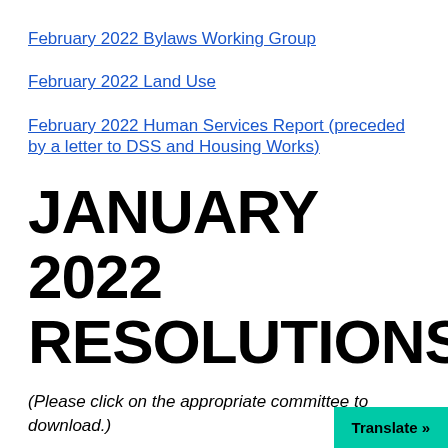February 2022 Bylaws Working Group
February 2022 Land Use
February 2022 Human Services Report (preceded by a letter to DSS and Housing Works)
JANUARY 2022 RESOLUTIONS
(Please click on the appropriate committee to download.)
January 2022 Land Use